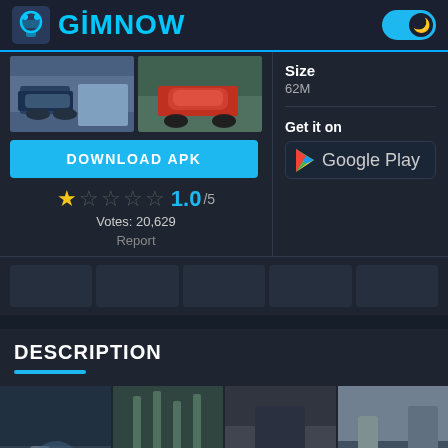GIMNOW
[Figure (screenshot): App screenshots showing car racing scenes]
DOWNLOAD APK
1.0/5 Votes: 20,629
Report
Size
62M
Get it on
Google Play
DESCRIPTION
[Figure (screenshot): Mobile game screenshots showing city/motorcycle scenes]